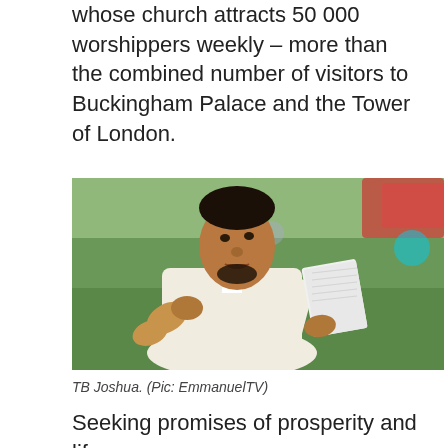whose church attracts 50 000 worshippers weekly – more than the combined number of visitors to Buckingham Palace and the Tower of London.
[Figure (photo): TB Joshua, a man in a cream/white suit jacket, holding an open book (Bible) in his right hand and gesturing with his left hand, photographed outdoors with a blurred green and colorful background.]
TB Joshua. (Pic: EmmanuelTV)
Seeking promises of prosperity and life-